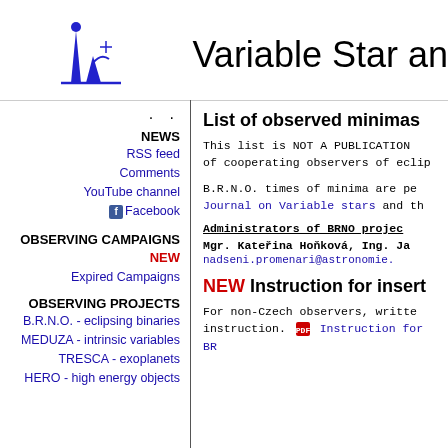[Figure (logo): Blue stylized logo with a star/person figure above two lines, resembling an astronomical observatory silhouette]
Variable Star an
. .
NEWS
RSS feed
Comments
YouTube channel
Facebook
OBSERVING CAMPAIGNS
NEW
Expired Campaigns
OBSERVING PROJECTS
B.R.N.O. - eclipsing binaries
MEDUZA - intrinsic variables
TRESCA - exoplanets
HERO - high energy objects
List of observed minimas
This list is NOT A PUBLICATION of cooperating observers of eclip
B.R.N.O. times of minima are pe Journal on Variable stars and th
Administrators of BRNO projec
Mgr. Kateřina Hoňková, Ing. Ja nadseni.promenari@astronomie.
NEW Instruction for insert
For non-Czech observers, writte instruction. Instruction for BR